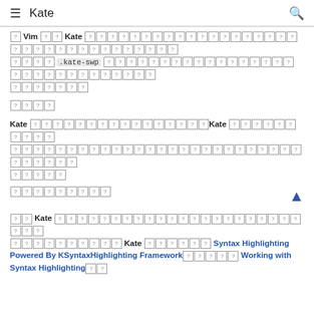≡  Kate  🔍
? Vim ???Kate ???????????????????????????????????????????????? ???? .kate-swp ???????????????????????????????????????????????? ???????
????
Kate ????????????????? Kate ???????????????????????????????????? ?????
?????????
?? Kate ????????????????????????????????????? ?????????? Kate ???????? Syntax Highlighting Powered By KSyntaxHighlighting Framework????? Working with Syntax Highlighting? ?